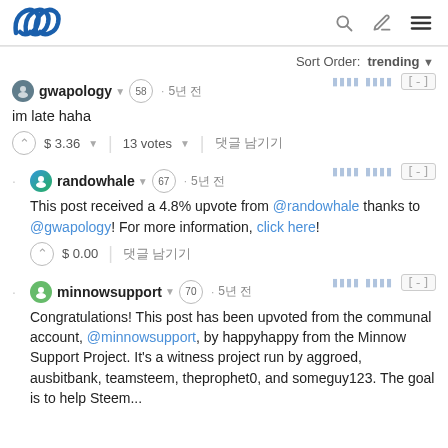Steemit logo + search, edit, menu icons
Sort Order: trending
gwapology 58 · 5년 전
im late haha
$ 3.36 | 13 votes | 댓글 남기기
randowhale 67 · 5년 전
This post received a 4.8% upvote from @randowhale thanks to @gwapology! For more information, click here!
$ 0.00 | 댓글 남기기
minnowsupport 70 · 5년 전
Congratulations! This post has been upvoted from the communal account, @minnowsupport, by happyhappy from the Minnow Support Project. It's a witness project run by aggroed, ausbitbank, teamsteem, theprophet0, and someguy123. The goal is to help Steem...